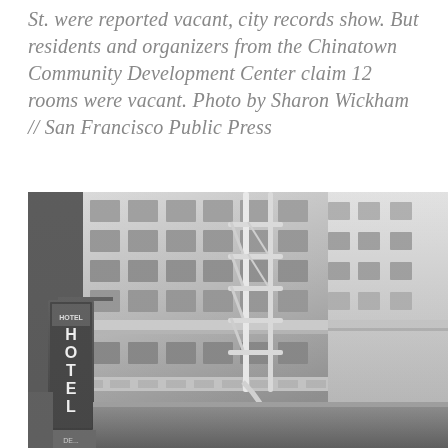St. were reported vacant, city records show. But residents and organizers from the Chinatown Community Development Center claim 12 rooms were vacant. Photo by Sharon Wickham // San Francisco Public Press
[Figure (photo): Black and white photograph looking up at the facade of a multi-story hotel building in San Francisco, showing fire escapes, ornate architectural details, and a vertical HOTEL sign on the lower left.]